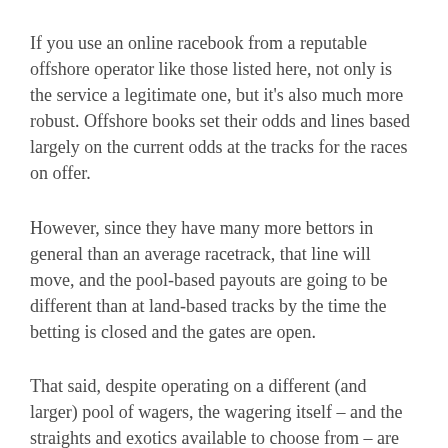If you use an online racebook from a reputable offshore operator like those listed here, not only is the service a legitimate one, but it's also much more robust. Offshore books set their odds and lines based largely on the current odds at the tracks for the races on offer.
However, since they have many more bettors in general than an average racetrack, that line will move, and the pool-based payouts are going to be different than at land-based tracks by the time the betting is closed and the gates are open.
That said, despite operating on a different (and larger) pool of wagers, the wagering itself – and the straights and exotics available to choose from – are identical to what you'd find locally. An added benefit of offshore sites is that they also have futures on